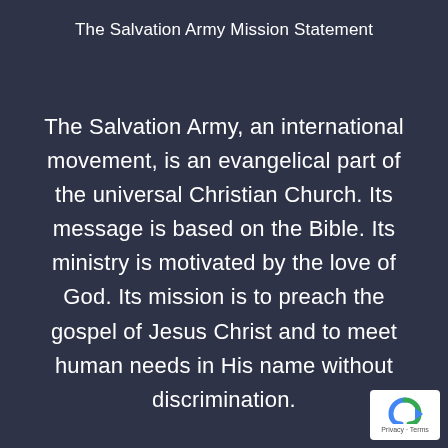The Salvation Army Mission Statement
The Salvation Army, an international movement, is an evangelical part of the universal Christian Church. Its message is based on the Bible. Its ministry is motivated by the love of God. Its mission is to preach the gospel of Jesus Christ and to meet human needs in His name without discrimination.